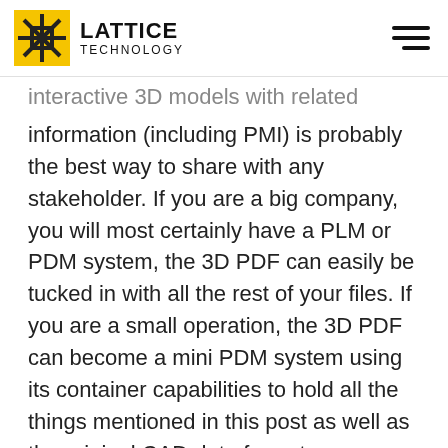LATTICE TECHNOLOGY
interactive 3D models with related information (including PMI) is probably the best way to share with any stakeholder.  If you are a big company, you will most certainly have a PLM or PDM system, the 3D PDF can easily be tucked in with all the rest of your files.  If you are a small operation, the 3D PDF can become a mini PDM system using its container capabilities to hold all the things mentioned in this post as well as the original CAD data format